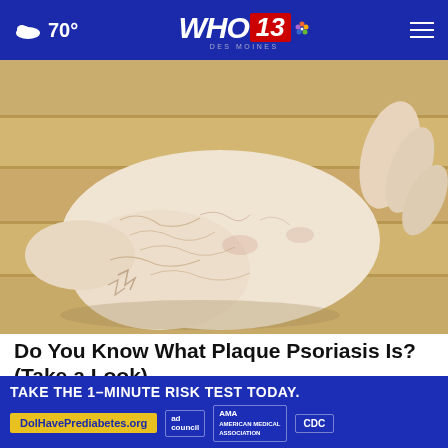70° WHO 13 DES MOINES
[Figure (photo): Close-up photograph of a human foot/ankle showing dry, cracked, scaly skin consistent with plaque psoriasis, held against a light wooden floor background]
Do You Know What Plaque Psoriasis Is? (Take a Look)
Search Plaque Psoriasis
[Figure (infographic): Advertisement banner: TAKE THE 1-MINUTE RISK TEST TODAY. DolHavePrediabetes.org with AMA and CDC logos]